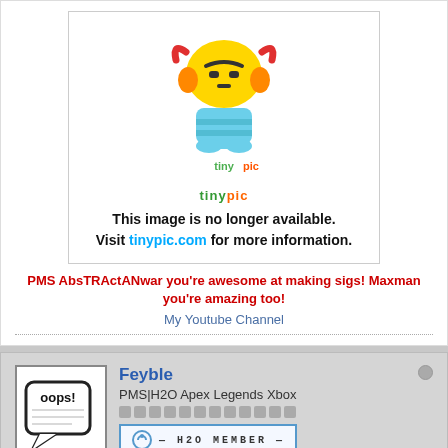[Figure (illustration): Tinypic placeholder image showing a cartoon robot trophy character with the text 'This image is no longer available. Visit tinypic.com for more information.']
PMS AbsTRActANwar you're awesome at making sigs! Maxman you're amazing too!
My Youtube Channel
Feyble
PMS|H2O Apex Legends Xbox
[Figure (illustration): Oops speech bubble avatar placeholder image]
[Figure (illustration): H2O Member badge/banner with circular icon]
Join Date: Dec 2006    Posts: 186